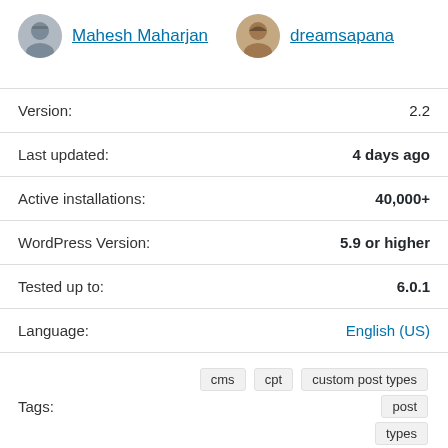[Figure (illustration): Avatar photo of contributor Mahesh Maharjan (male, glasses) with link]
Mahesh Maharjan
[Figure (illustration): Avatar photo of contributor dreamsapana (female) with link]
dreamsapana
| Label | Value |
| --- | --- |
| Version: | 2.2 |
| Last updated: | 4 days ago |
| Active installations: | 40,000+ |
| WordPress Version: | 5.9 or higher |
| Tested up to: | 6.0.1 |
| Language: | English (US) |
| Tags: | cms  cpt  custom post types  post  types |
Advanced View